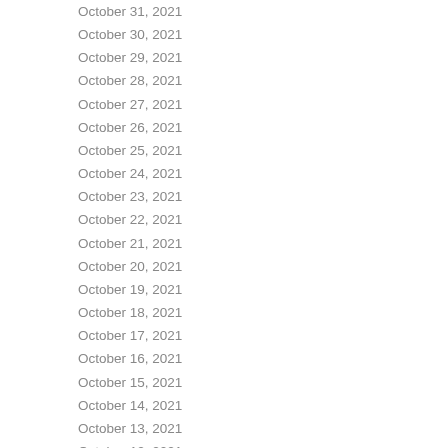| Date | Value |
| --- | --- |
| October 31, 2021 | 1 |
| October 30, 2021 | 1 |
| October 29, 2021 | 1 |
| October 28, 2021 | 1 |
| October 27, 2021 | 8 |
| October 26, 2021 | 1 |
| October 25, 2021 | 9 |
| October 24, 2021 | 1 |
| October 23, 2021 | 1 |
| October 22, 2021 | 1 |
| October 21, 2021 | 1 |
| October 20, 2021 | 1 |
| October 19, 2021 | 1 |
| October 18, 2021 | 1 |
| October 17, 2021 | 8 |
| October 16, 2021 | 1 |
| October 15, 2021 | 9 |
| October 14, 2021 | 1 |
| October 13, 2021 | 1 |
| October 12, 2021 | 9 |
| October 11, 2021 | 1 |
| October 10, 2021 | 1 |
| October 9, 2021 | 1 |
| October 8, 2021 | 1 |